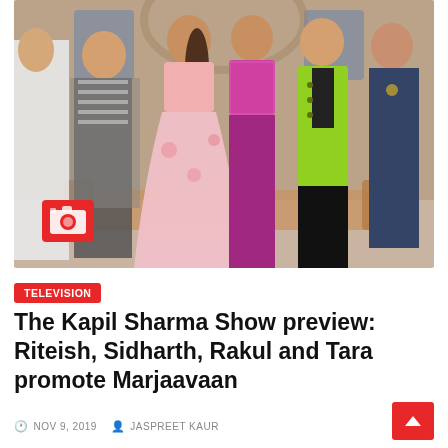[Figure (photo): Group photo of TV show cast and guests on The Kapil Sharma Show set. Six people standing together: a woman in white on far left, a man in striped shirt and leopard print jacket, a woman in pink floral lehenga, a woman in magenta sequined top with wide-leg pants, a man in lime green blazer, and a man in dark outfit on far right. A red camera icon overlay is visible at bottom-left of the image.]
TELEVISION
The Kapil Sharma Show preview: Riteish, Sidharth, Rakul and Tara promote Marjaavaan
NOV 9, 2019   JASPREET KAUR